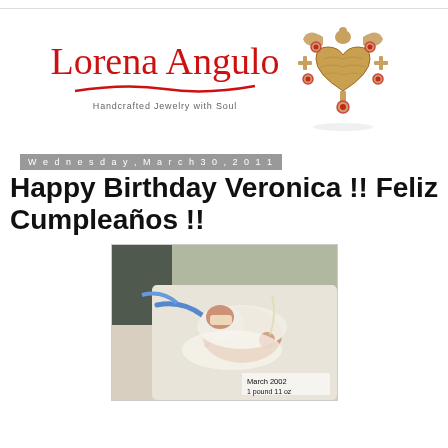[Figure (logo): Lorena Angulo handcrafted jewelry logo with script text and heart brooch photo]
Wednesday, March 30, 2011
Happy Birthday Veronica !! Feliz Cumpleaños !!
[Figure (photo): A premature newborn baby in a hospital setting with medical equipment, labeled March 2002]